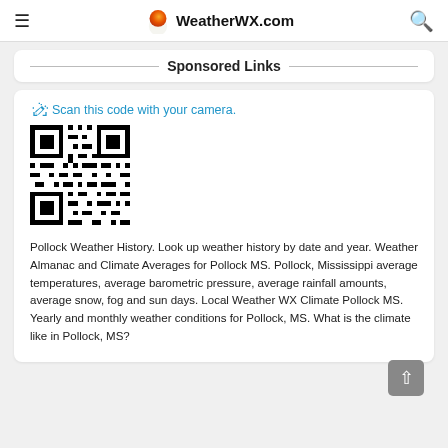WeatherWX.com
Sponsored Links
[Figure (other): QR code with prompt 'Scan this code with your camera.']
Pollock Weather History. Look up weather history by date and year. Weather Almanac and Climate Averages for Pollock MS. Pollock, Mississippi average temperatures, average barometric pressure, average rainfall amounts, average snow, fog and sun days. Local Weather WX Climate Pollock MS. Yearly and monthly weather conditions for Pollock, MS. What is the climate like in Pollock, MS?